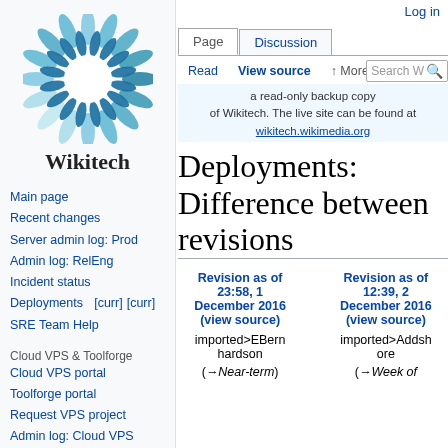Log in
[Figure (logo): Wikitech logo: blue/white sunflower-like circular icon above the text 'Wikitech']
Main page
Recent changes
Server admin log: Prod
Admin log: RelEng
Incident status
Deployments   [curr]
[curr]
SRE Team Help
Cloud VPS & Toolforge
Cloud VPS portal
Toolforge portal
Request VPS project
Admin log: Cloud VPS
a read-only backup copy of Wikitech. The live site can be found at wikitech.wikimedia.org
Deployments: Difference between revisions
| Revision as of 23:58, 1 December 2016 (view source) |  | Revision as of 12:39, 2 December 2016 (view source) |
| --- | --- | --- |
| imported>EBernhardson |  | imported>Addshore |
| (→Near-term) |  | (→Week of |